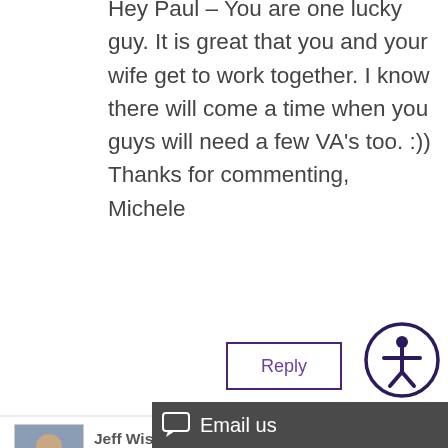Hey Paul – You are one lucky guy. It is great that you and your wife get to work together. I know there will come a time when you guys will need a few VA's too. :)) Thanks for commenting, Michele
[Figure (other): Reply button (bordered box with purple text 'Reply') and accessibility icon (circular icon with person figure, dark purple border)]
[Figure (photo): Small square avatar photo of Jeff Wise, a young man in a collared shirt]
Jeff Wise on December 20, 2010 at 12:52 pm
@Lynn Brown – I haven't tried a VA service yet actually. I do see how I will need to explore it further as my business grows. I k...
[Figure (other): Email us chat widget bar at bottom right with speech bubble icon and text 'Email us']